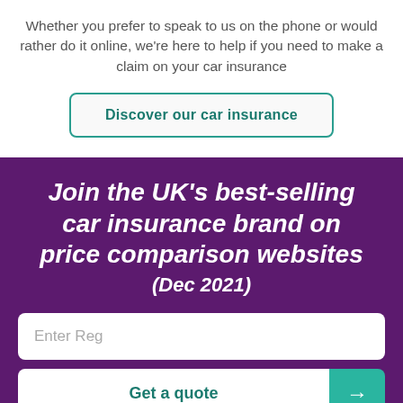Whether you prefer to speak to us on the phone or would rather do it online, we're here to help if you need to make a claim on your car insurance
Discover our car insurance
Join the UK's best-selling car insurance brand on price comparison websites (Dec 2021)
Enter Reg
Get a quote